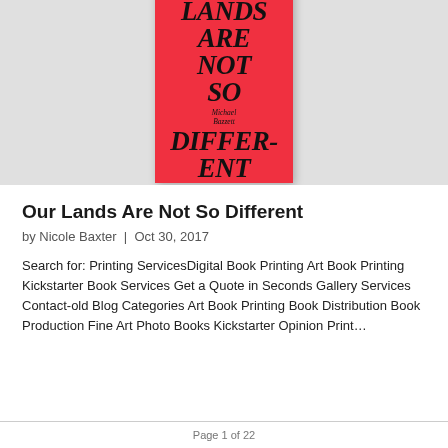[Figure (photo): Book cover of 'Our Lands Are Not So Different' by Michael Bazzett, red background with large bold italic serif text, partially cropped at top]
Our Lands Are Not So Different
by Nicole Baxter  |  Oct 30, 2017
Search for: Printing ServicesDigital Book Printing Art Book Printing Kickstarter Book Services Get a Quote in Seconds Gallery Services Contact-old Blog Categories Art Book Printing Book Distribution Book Production Fine Art Photo Books Kickstarter Opinion Print...
Page 1 of 22